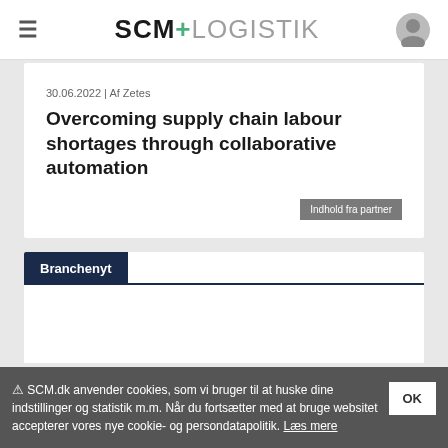SCM+LOGISTIK
30.06.2022 | Af Zetes
Overcoming supply chain labour shortages through collaborative automation
Indhold fra partner
Branchenyt
⚠ SCM.dk anvender cookies, som vi bruger til at huske dine indstillinger og statistik m.m. Når du fortsætter med at bruge websitet accepterer vores nye cookie- og persondatapolitik. Læs mere